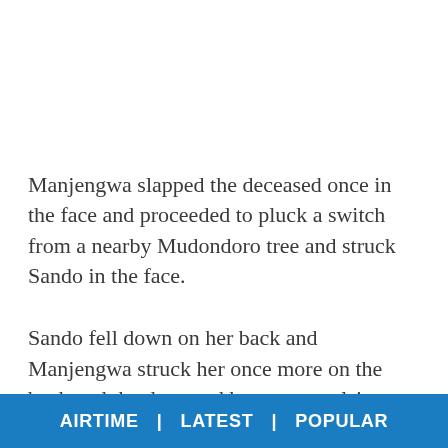Manjengwa slapped the deceased once in the face and proceeded to pluck a switch from a nearby Mudondoro tree and struck Sando in the face.
Sando fell down on her back and Manjengwa struck her once more on the back and the deceased began convulsing.
She was rushed to a clinic before she was transferred to
AIRTIME | LATEST | POPULAR